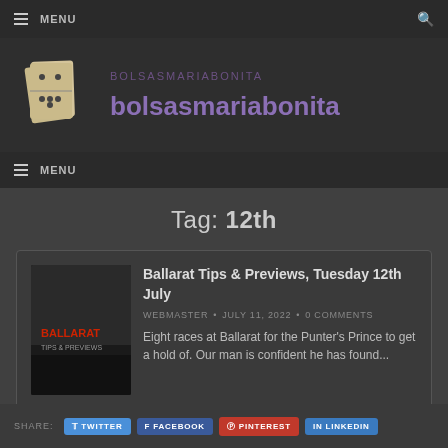≡ MENU
[Figure (logo): Bolsasmariabonita website logo with domino tiles image and purple site name text]
≡ MENU
Tag: 12th
Ballarat Tips & Previews, Tuesday 12th July
WEBMASTER • JULY 11, 2022 • 0 COMMENTS
Eight races at Ballarat for the Punter's Prince to get a hold of. Our man is confident he has found...
SHARE: TWITTER FACEBOOK PINTEREST LINKEDIN